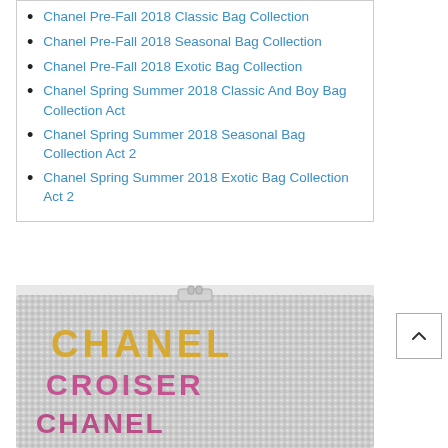Chanel Pre-Fall 2018 Classic Bag Collection
Chanel Pre-Fall 2018 Seasonal Bag Collection
Chanel Pre-Fall 2018 Exotic Bag Collection
Chanel Spring Summer 2018 Classic And Boy Bag Collection Act
Chanel Spring Summer 2018 Seasonal Bag Collection Act 2
Chanel Spring Summer 2018 Exotic Bag Collection Act 2
[Figure (photo): Chanel crystal-encrusted clutch bag with silver, gold, and pink rhinestone letters spelling CHANEL on its surface, with a silver clasp on top.]